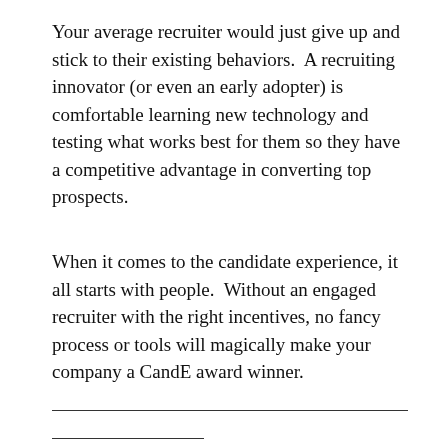Your average recruiter would just give up and stick to their existing behaviors.  A recruiting innovator (or even an early adopter) is comfortable learning new technology and testing what works best for them so they have a competitive advantage in converting top prospects.
When it comes to the candidate experience, it all starts with people.  Without an engaged recruiter with the right incentives, no fancy process or tools will magically make your company a CandE award winner.